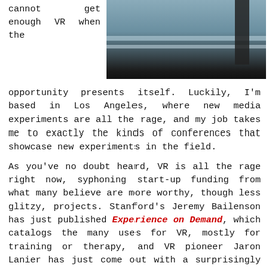cannot get enough VR when the
[Figure (photo): A person walking on what appears to be a bridge or elevated walkway, with railings visible. The bottom portion of the image is dark/black.]
opportunity presents itself. Luckily, I'm based in Los Angeles, where new media experiments are all the rage, and my job takes me to exactly the kinds of conferences that showcase new experiments in the field.
As you've no doubt heard, VR is all the rage right now, syphoning start-up funding from what many believe are more worthy, though less glitzy, projects. Stanford's Jeremy Bailenson has just published Experience on Demand, which catalogs the many uses for VR, mostly for training or therapy, and VR pioneer Jaron Lanier has just come out with a surprisingly optimistic book, Dawn of the New Everything. Even if you're skeptical about VR, I think you co...